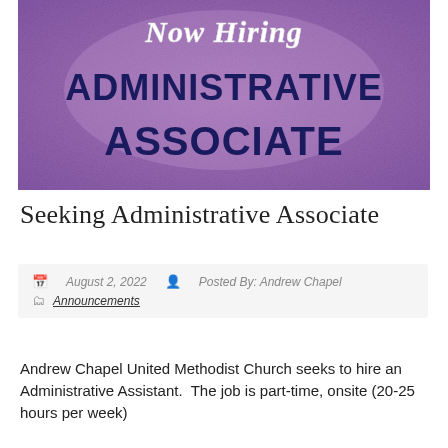[Figure (illustration): Purple textured banner with white script text 'Now Hiring' at top and bold dark navy text 'ADMINISTRATIVE ASSOCIATE' below]
Seeking Administrative Associate
August 2, 2022   Posted By: Andrew Chapel   Announcements
Andrew Chapel United Methodist Church seeks to hire an Administrative Assistant.  The job is part-time, onsite (20-25 hours per week)
CONTINUE READING→